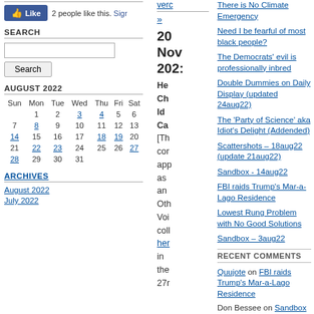[Figure (screenshot): Facebook Like button widget: blue Like button with thumbs up icon, '2 people like this.' text, and 'Sigr' (Sign up) link]
SEARCH
Search input box and Search button
AUGUST 2022
| Sun | Mon | Tue | Wed | Thu | Fri | Sat |
| --- | --- | --- | --- | --- | --- | --- |
|  | 1 | 2 | 3 | 4 | 5 | 6 |
| 7 | 8 | 9 | 10 | 11 | 12 | 13 |
| 14 | 15 | 16 | 17 | 18 | 19 | 20 |
| 21 | 22 | 23 | 24 | 25 | 26 | 27 |
| 28 | 29 | 30 | 31 |  |  |  |
ARCHIVES
August 2022
July 2022
verc (truncated link)
»
20 Nov 2022 (date)
He Cr Id Ca [Th cor apl as an Oth Voi coll her in the 27r (truncated article text)
There is No Climate Emergency
Need I be fearful of most black people?
The Democrats' evil is professionally inbred
Double Dummies on Daily Display (updated 24aug22)
The 'Party of Science' aka Idiot's Delight (Addended)
Scattershots – 18aug22 (update 21aug22)
Sandbox - 14aug22
FBI raids Trump's Mar-a-Lago Residence
Lowest Rung Problem with No Good Solutions
Sandbox – 3aug22
RECENT COMMENTS
Quujote on FBI raids Trump's Mar-a-Lago Residence
Don Bessee on Sandbox - 14aug22